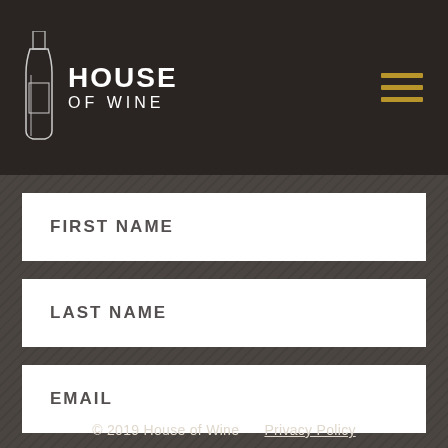HOUSE OF WINE
FIRST NAME
LAST NAME
EMAIL
SIGN UP
© 2019 House of Wine    Privacy Policy